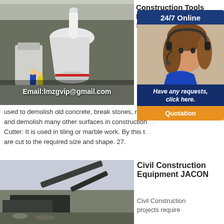[Figure (photo): Industrial machinery inside a large warehouse facility with Email:lmzgvip@gmail.com overlay text]
Construction Tools List Building DAILY
2020 Hammer construction used to demolish old concrete, break stones, remove and demolish many other surfaces in construction. Cutter: It is used in tiling or marble work. By this tool are cut to the required size and shape. 27.
[Figure (infographic): 24/7 Online popup with customer service representative wearing headset, Have any requests, click here. and Quotation button]
[Figure (photo): Heavy construction crushing equipment machinery outdoors]
Civil Construction Equipment JACON
Civil Construction projects require